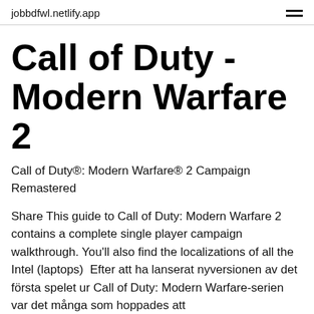jobbdfwl.netlify.app
Call of Duty - Modern Warfare 2
Call of Duty®: Modern Warfare® 2 Campaign Remastered
Share This guide to Call of Duty: Modern Warfare 2 contains a complete single player campaign walkthrough. You'll also find the localizations of all the Intel (laptops)  Efter att ha lanserat nyversionen av det första spelet ur Call of Duty: Modern Warfare-serien var det många som hoppades att